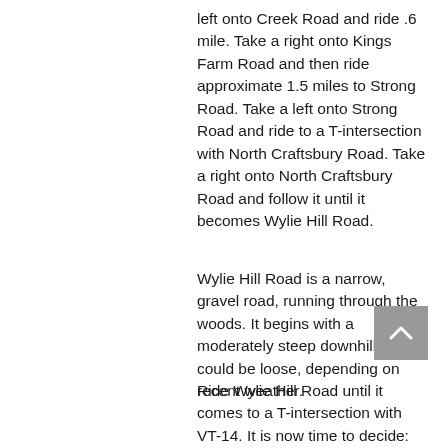left onto Creek Road and ride .6 mile. Take a right onto Kings Farm Road and then ride approximate 1.5 miles to Strong Road. Take a left onto Strong Road and ride to a T-intersection with North Craftsbury Road. Take a right onto North Craftsbury Road and follow it until it becomes Wylie Hill Road.
Wylie Hill Road is a narrow, gravel road, running through the woods. It begins with a moderately steep downhill that could be loose, depending on recent weather.
Ride Wylie Hill Road until it comes to a T-intersection with VT-14. It is now time to decide: hero section or no hero section? Read the Bayley-Hazen Road